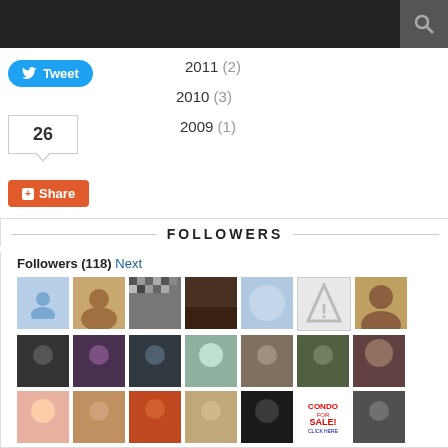Top navigation bar with search icon
2011 (2)
2010 (3)
2009 (1)
[Figure (screenshot): Tweet button (blue rounded), share count box showing 26, and Share button (orange)]
FOLLOWERS
Followers (118) Next
[Figure (photo): Grid of 22 follower avatar thumbnails in 4 rows]